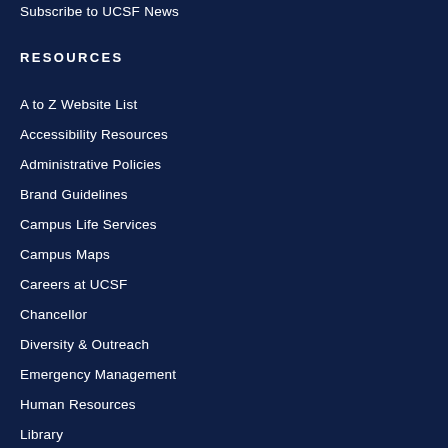Subscribe to UCSF News
RESOURCES
A to Z Website List
Accessibility Resources
Administrative Policies
Brand Guidelines
Campus Life Services
Campus Maps
Careers at UCSF
Chancellor
Diversity & Outreach
Emergency Management
Human Resources
Library